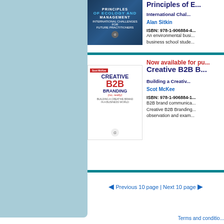[Figure (illustration): Book cover of Principles of Ecology and Management - International Challenges for Future Practitioners]
Principles of E...
International Chal...
Alan Sitkin
ISBN: 978-1-906884-4...
An environmental busi... business school stude...
Now available for pu...
[Figure (illustration): Book cover of Creative B2B Branding (no, really) - Building a Creative Brand in a Business World]
Creative B2B B...
Building a Creativ...
Scot McKee
ISBN: 978-1-906884-1...
B2B brand communica... Creative B2B Branding... observation and exam...
◄ Previous 10 page | Next 10 page ►
Terms and conditio...